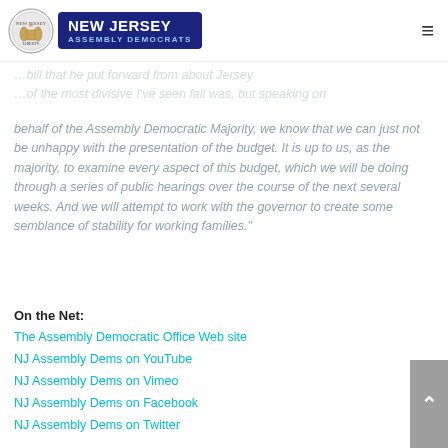New Jersey Assembly Democrats
behalf of the Assembly Democratic Majority, we know that we can just not be unhappy with the presentation of the budget. It is up to us, as the majority, to examine every aspect of this budget, which we will be doing through a series of public hearings over the course of the next several weeks. And we will attempt to work with the governor to create some semblance of stability for working families."
On the Net:
The Assembly Democratic Office Web site
NJ Assembly Dems on YouTube
NJ Assembly Dems on Vimeo
NJ Assembly Dems on Facebook
NJ Assembly Dems on Twitter